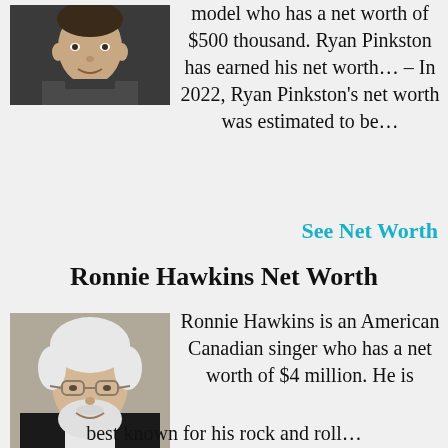[Figure (photo): Headshot of young man (Ryan Pinkston) in dark shirt against dark background]
model who has a net worth of $500 thousand. Ryan Pinkston has earned his net worth… – In 2022, Ryan Pinkston's net worth was estimated to be…
See Net Worth
Ronnie Hawkins Net Worth
[Figure (photo): Photo of elderly man (Ronnie Hawkins) with white hair and beard, wearing black jacket]
Ronnie Hawkins is an American Canadian singer who has a net worth of $4 million. He is best known for his rock and roll…